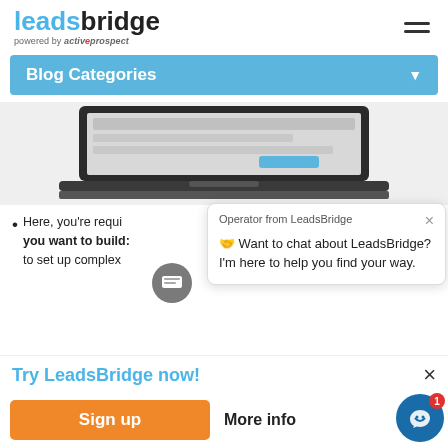[Figure (logo): LeadsBridge logo with 'powered by activeprospect' subtitle]
Blog Categories
[Figure (screenshot): Laptop computer showing a web application interface screenshot]
Here, you're required to choose the type of bridge you want to build: to set up complex
[Figure (infographic): Chat popup from Operator from LeadsBridge: Want to chat about LeadsBridge? I'm here to help you find your way.]
Try LeadsBridge now!